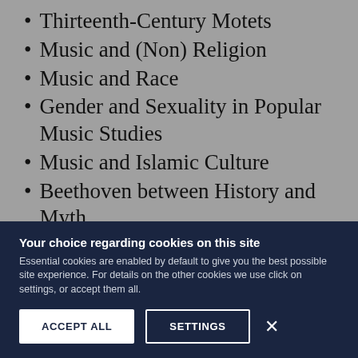Thirteenth-Century Motets
Music and (Non) Religion
Music and Race
Gender and Sexuality in Popular Music Studies
Music and Islamic Culture
Beethoven between History and Myth.
You may participate in as many of these seminars as you wish. Your second summative assessment will be written in response to an aspect of any one of the
Your choice regarding cookies on this site
Essential cookies are enabled by default to give you the best possible site experience. For details on the other cookies we use click on settings, or accept them all.